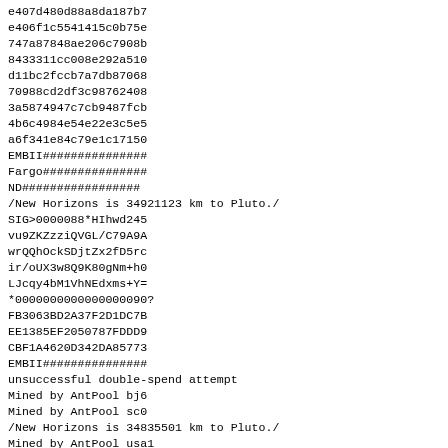e407d480d88a8da187b7
e406f1c5541415c0b75e
747a87848ae206c7908b
8433311cc008e292a510
d11bc2fccb7a7db87068
70988cd2df3c98762408
3a5874947c7cb9487fcb
4b6c4984e54e22e3c5e5
a6f341e84c79e1c17150
EMBII###############
Fargo###############
ND#################
/New Horizons is 34921123 km to Pluto./
SIG>0000088*HIhwd245
vu9ZKZzziQVGL/C79A9A
wrQQhOckSDjtZx2fD5rc
ir/oUX3w8Q9K80gNm+h0
LJcqy4bM1VhNEdxms+Y=
*0000000000000000090?
FB3063BD2A37F2D1DC7B
EE1385EF2050787FDDD9
CBF1A4620D342DA85773
EMBII###############
unsuccessful double-spend attempt
Mined by AntPool bj6
Mined by AntPool sc0
/New Horizons is 34835501 km to Pluto./
Mined by AntPool usa1
unsuccessful double-spend attempt
/New Horizons is 34791495 km to Pluto./3
Mined by AntPool bj1 4